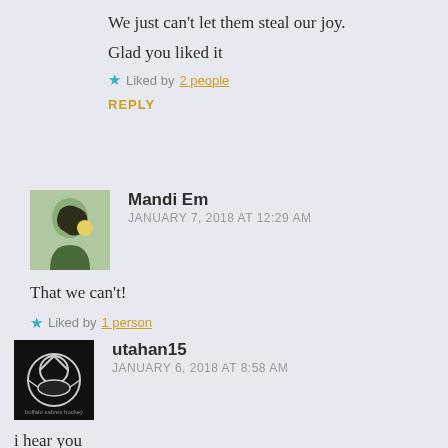We just can't let them steal our joy.
Glad you liked it
Liked by 2 people
REPLY
Mandi Em
JANUARY 7, 2018 AT 12:29 AM
That we can't!
Liked by 1 person
utahan15
JANUARY 6, 2018 AT 8:58 AM
i hear you